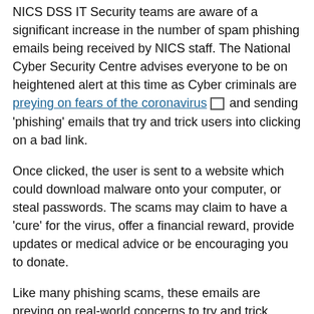NICS DSS IT Security teams are aware of a significant increase in the number of spam phishing emails being received by NICS staff. The National Cyber Security Centre advises everyone to be on heightened alert at this time as Cyber criminals are preying on fears of the coronavirus [link icon] and sending 'phishing' emails that try and trick users into clicking on a bad link.
Once clicked, the user is sent to a website which could download malware onto your computer, or steal passwords. The scams may claim to have a 'cure' for the virus, offer a financial reward, provide updates or medical advice or be encouraging you to donate.
Like many phishing scams, these emails are preying on real-world concerns to try and trick people into doing the wrong thing. Please refer to our guidance on dealing with suspicious emails.
guidance on dealing with suspicious emails [icon]